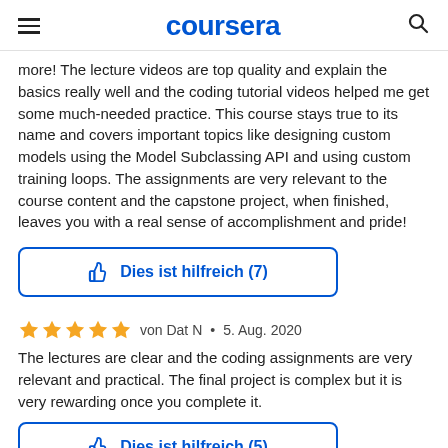coursera
more! The lecture videos are top quality and explain the basics really well and the coding tutorial videos helped me get some much-needed practice. This course stays true to its name and covers important topics like designing custom models using the Model Subclassing API and using custom training loops. The assignments are very relevant to the course content and the capstone project, when finished, leaves you with a real sense of accomplishment and pride!
Dies ist hilfreich (7)
von Dat N  •  5. Aug. 2020
The lectures are clear and the coding assignments are very relevant and practical. The final project is complex but it is very rewarding once you complete it.
Dies ist hilfreich (5)